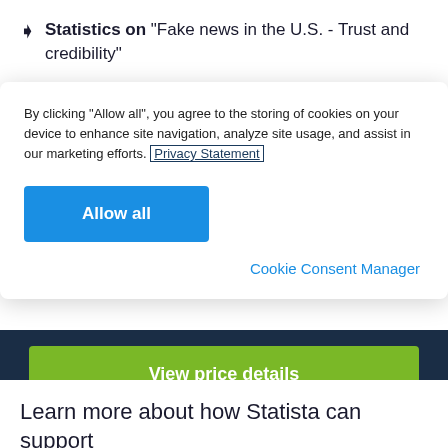Statistics on "Fake news in the U.S. - Trust and credibility"
By clicking “Allow all”, you agree to the storing of cookies on your device to enhance site navigation, analyze site usage, and assist in our marketing efforts. Privacy Statement
Allow all
Cookie Consent Manager
View price details
Learn more about how Statista can support